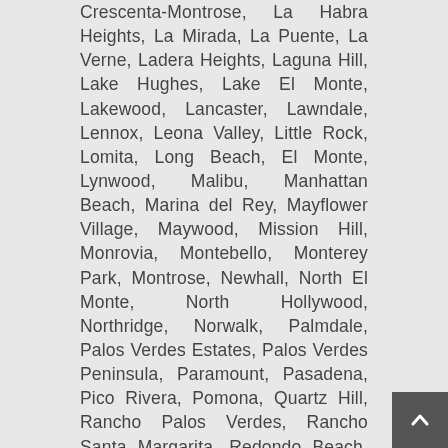Crescenta-Montrose, La Habra Heights, La Mirada, La Puente, La Verne, Ladera Heights, Laguna Hill, Lake Hughes, Lake El Monte, Lakewood, Lancaster, Lawndale, Lennox, Leona Valley, Little Rock, Lomita, Long Beach, El Monte, Lynwood, Malibu, Manhattan Beach, Marina del Rey, Mayflower Village, Maywood, Mission Hill, Monrovia, Montebello, Monterey Park, Montrose, Newhall, North El Monte, North Hollywood, Northridge, Norwalk, Palmdale, Palos Verdes Estates, Palos Verdes Peninsula, Paramount, Pasadena, Pico Rivera, Pomona, Quartz Hill, Rancho Palos Verdes, Rancho Santa Margarita, Redondo Beach, Reseda, Rolling Hills Estates, Rose Hills, Rosemead, Rowland Heights, San Dimas, San Fernando, San Gabriel, San Marino, San Pasqual, San Pedro, Santa Clarita, Santa Fe Springs, Santa Monica,